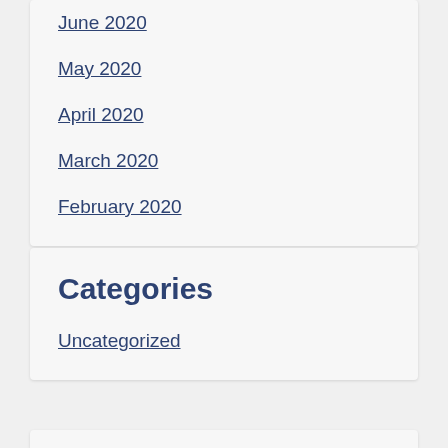June 2020
May 2020
April 2020
March 2020
February 2020
Categories
Uncategorized